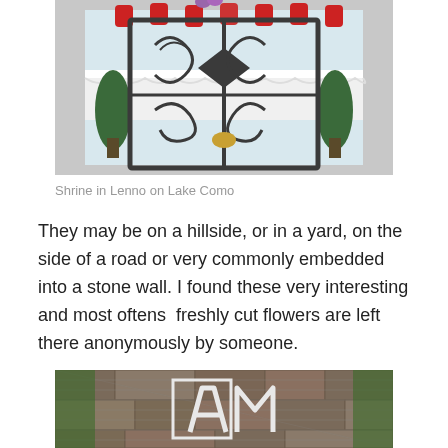[Figure (photo): Photo of an ornate wrought iron gate/shrine with scrollwork, with red lanterns and white lace tablecloth visible behind, green topiaries on the sides, against a light background. Shrine in Lenno on Lake Como.]
Shrine in Lenno on Lake Como
They may be on a hillside, or in a yard, on the side of a road or very commonly embedded into a stone wall. I found these very interesting and most oftens  freshly cut flowers are left there anonymously by someone.
[Figure (photo): Photo of a stone wall with chicken wire/mesh fencing, showing letters 'AM' formed from white tiles or stones on the wall, with green ivy/vegetation around.]